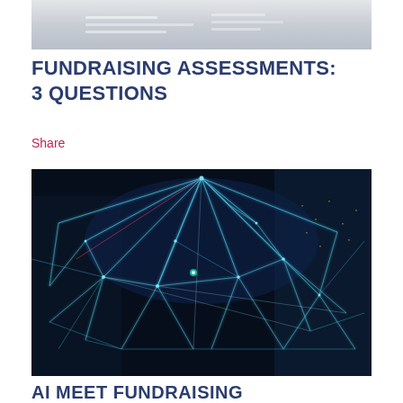[Figure (photo): Partial top image showing papers/documents in grayscale, cropped at the top]
FUNDRAISING ASSESSMENTS: 3 QUESTIONS
Share
[Figure (photo): Nighttime cityscape with glowing blue geometric network lines forming a web-like 3D structure overlaid on skyscrapers]
AI MEET FUNDRAISING